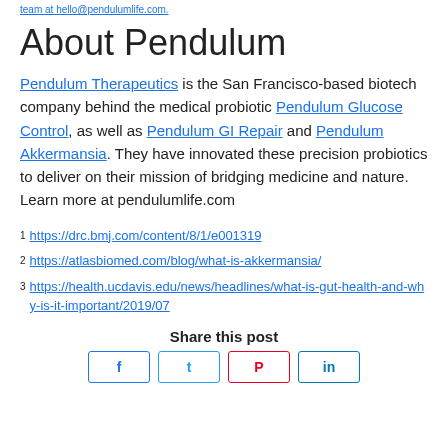team at hello@pendulumlife.com
About Pendulum
Pendulum Therapeutics is the San Francisco-based biotech company behind the medical probiotic Pendulum Glucose Control, as well as Pendulum GI Repair and Pendulum Akkermansia. They have innovated these precision probiotics to deliver on their mission of bridging medicine and nature. Learn more at pendulumlife.com
1 https://drc.bmj.com/content/8/1/e001319
2 https://atlasbiomed.com/blog/what-is-akkermansia/
3 https://health.ucdavis.edu/news/headlines/what-is-gut-health-and-why-is-it-important/2019/07
Share this post